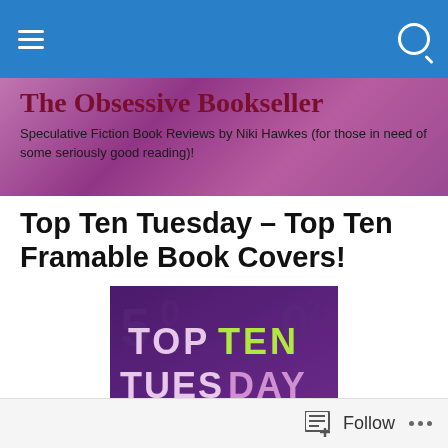The Obsessive Bookseller
Speculative Fiction Book Reviews by Niki Hawkes (for those in need of some seriously good reading)!
Top Ten Tuesday – Top Ten Framable Book Covers!
[Figure (photo): Top Ten Tuesday promotional image with purple background and large white and green text reading 'TOP TEN TUESDAY']
Follow